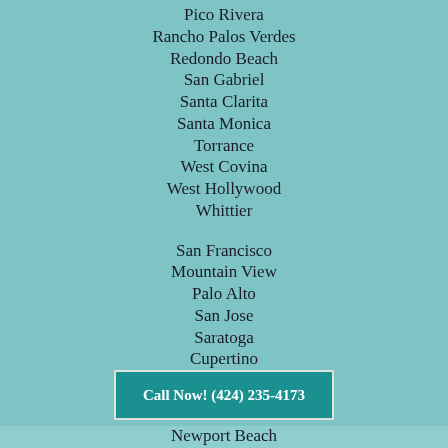Pico Rivera
Rancho Palos Verdes
Redondo Beach
San Gabriel
Santa Clarita
Santa Monica
Torrance
West Covina
West Hollywood
Whittier
San Francisco
Mountain View
Palo Alto
San Jose
Saratoga
Cupertino
Los Gatos
Call Now! (424) 235-4173
Newport Beach